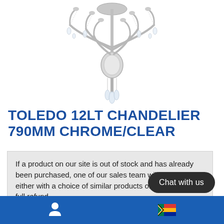[Figure (photo): Crystal chandelier (Toledo 12lt) with chrome and clear glass drops, seen from below, white background, partial view cropped at top of page.]
TOLEDO 12LT CHANDELIER 790MM CHROME/CLEAR
If a product on our site is out of stock and has already been purchased, one of our sales team will contact you either with a choice of similar products or the option of a full refund.
If you would rather like to confirm stock before purchasing please contact one of our sales team on 011 887 2429 or email jax@wynberglights
Chat with us